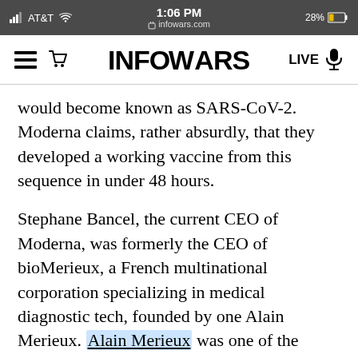AT&T  1:06 PM  28%  infowars.com
[Figure (screenshot): Infowars website navigation bar with hamburger menu, cart icon, INFOWARS logo, LIVE text and microphone icon]
would become known as SARS-CoV-2. Moderna claims, rather absurdly, that they developed a working vaccine from this sequence in under 48 hours.
Stephane Bancel, the current CEO of Moderna, was formerly the CEO of bioMerieux, a French multinational corporation specializing in medical diagnostic tech, founded by one Alain Merieux. Alain Merieux was one of the individuals who was instrumental in the